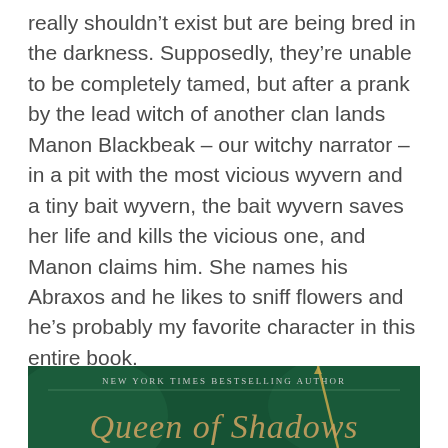really shouldn't exist but are being bred in the darkness. Supposedly, they're unable to be completely tamed, but after a prank by the lead witch of another clan lands Manon Blackbeak – our witchy narrator – in a pit with the most vicious wyvern and a tiny bait wyvern, the bait wyvern saves her life and kills the vicious one, and Manon claims him. She names his Abraxos and he likes to sniff flowers and he's probably my favorite character in this entire book.
The witch plotline makes no sense and connects to nothing in this book, but it all comes together in the next one, thankfully.
Okay. Whew. Onward.
[Figure (photo): Bottom portion of a book cover with a dark green background, showing 'NEW YORK TIMES BESTSELLING AUTHOR' in small caps at top, and partial decorative text below in gold/tan color, with a sword graphic element.]